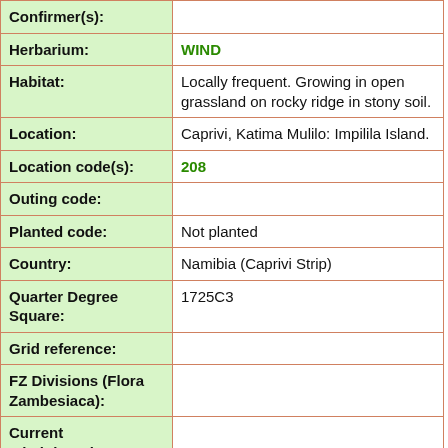| Field | Value |
| --- | --- |
| Confirmer(s): |  |
| Herbarium: | WIND |
| Habitat: | Locally frequent. Growing in open grassland on rocky ridge in stony soil. |
| Location: | Caprivi, Katima Mulilo: Impilila Island. |
| Location code(s): | 208 |
| Outing code: |  |
| Planted code: | Not planted |
| Country: | Namibia (Caprivi Strip) |
| Quarter Degree Square: | 1725C3 |
| Grid reference: |  |
| FZ Divisions (Flora Zambesiaca): |  |
| Current administrative province: |  |